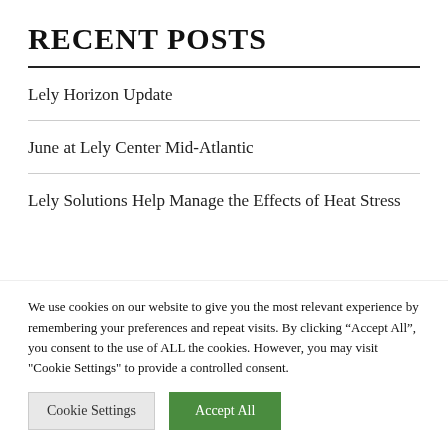RECENT POSTS
Lely Horizon Update
June at Lely Center Mid-Atlantic
Lely Solutions Help Manage the Effects of Heat Stress
We use cookies on our website to give you the most relevant experience by remembering your preferences and repeat visits. By clicking “Accept All”, you consent to the use of ALL the cookies. However, you may visit "Cookie Settings" to provide a controlled consent.
Cookie Settings | Accept All